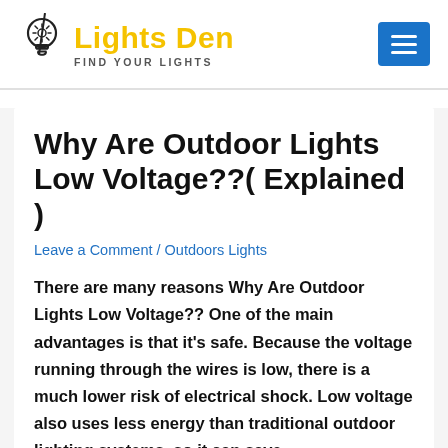Lights Den — FIND YOUR LIGHTS
Why Are Outdoor Lights Low Voltage??( Explained )
Leave a Comment / Outdoors Lights
There are many reasons Why Are Outdoor Lights Low Voltage?? One of the main advantages is that it's safe. Because the voltage running through the wires is low, there is a much lower risk of electrical shock. Low voltage also uses less energy than traditional outdoor lighting systems, so it can save